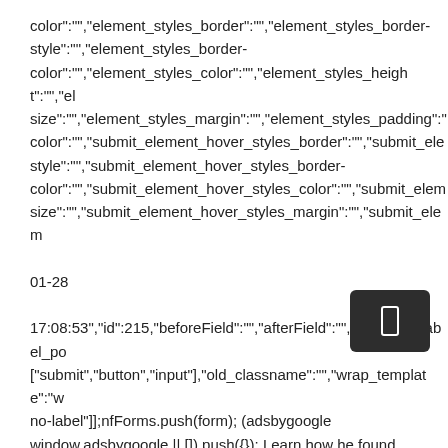color":"","element_styles_border":"","element_styles_border-style":"","element_styles_border-color":"","element_styles_color":"","element_styles_height":"","element_styles_font-size":"","element_styles_margin":"","element_styles_padding":"","element_styles_background-color":"","submit_element_hover_styles_border":"","submit_element_hover_styles_border-style":"","submit_element_hover_styles_border-color":"","submit_element_hover_styles_color":"","submit_element_hover_styles_font-size":"","submit_element_hover_styles_margin":"","submit_element_hover_styles_padding":"","submit_element_hover_styles_background-color":"","... 01-28 17:08:53","id":215,"beforeField":"","afterField":"","value":"","label_pos":"","element_types":["submit","button","input"],"old_classname":"","wrap_template":"wrap-no-label"}];nfForms.push(form); (adsbygoogle = window.adsbygoogle || []).push({}); Learn how he found